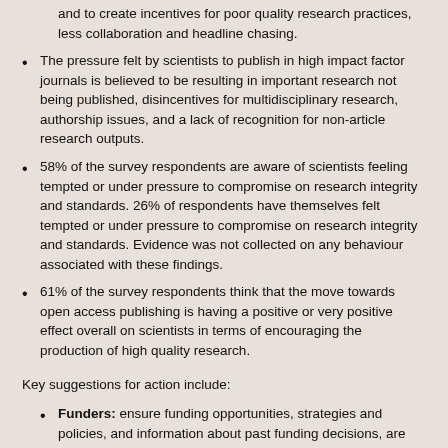and to create incentives for poor quality research practices, less collaboration and headline chasing.
The pressure felt by scientists to publish in high impact factor journals is believed to be resulting in important research not being published, disincentives for multidisciplinary research, authorship issues, and a lack of recognition for non-article research outputs.
58% of the survey respondents are aware of scientists feeling tempted or under pressure to compromise on research integrity and standards. 26% of respondents have themselves felt tempted or under pressure to compromise on research integrity and standards. Evidence was not collected on any behaviour associated with these findings.
61% of the survey respondents think that the move towards open access publishing is having a positive or very positive effect overall on scientists in terms of encouraging the production of high quality research.
Key suggestions for action include:
Funders: ensure funding opportunities, strategies and policies, and information about past funding decisions, are communicated clearly to institutions and researchers.
Research institutions: ...